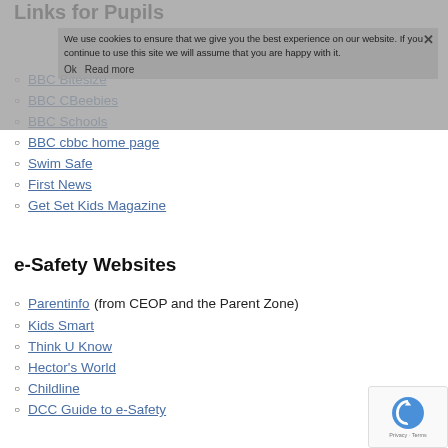Links for Pupils
BBC Bitesize
BBC CBeebies
BBC Schools
BBC cbbc home page
Swim Safe
First News
Get Set Kids Magazine
e-Safety Websites
Parentinfo (from CEOP and the Parent Zone)
Kids Smart
Think U Know
Hector's World
Childline
DCC Guide to e-Safety